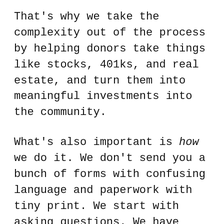That's why we take the complexity out of the process by helping donors take things like stocks, 401ks, and real estate, and turn them into meaningful investments into the community.
What's also important is how we do it. We don't send you a bunch of forms with confusing language and paperwork with tiny print. We start with asking questions. We have conversations with you (and your advisors, if you wish), to learn what you care about, what you want your charitable giving to